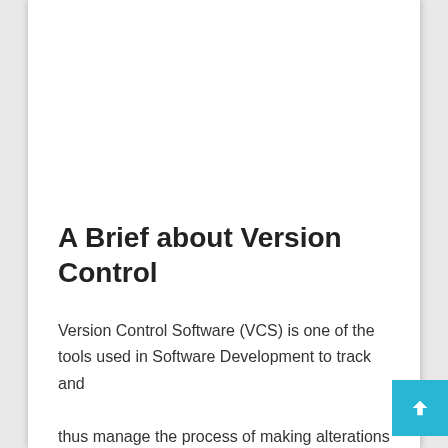A Brief about Version Control
Version Control Software (VCS) is one of the tools used in Software Development to track and thus manage the process of making alterations to the project's files. Also known as Revision